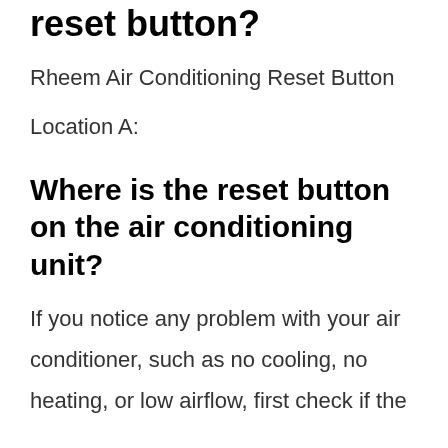reset button?
Rheem Air Conditioning Reset Button
Location A:
Where is the reset button on the air conditioning unit?
If you notice any problem with your air conditioner, such as no cooling, no heating, or low airflow, first check if the